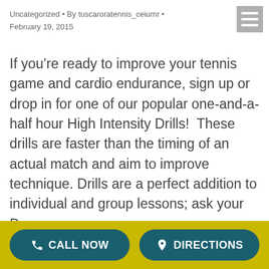Uncategorized • By tuscaroratennis_ceiumr • February 19, 2015
If you're ready to improve your tennis game and cardio endurance, sign up or drop in for one of our popular one-and-a-half hour High Intensity Drills!  These drills are faster than the timing of an actual match and aim to improve technique. Drills are a perfect addition to individual and group lessons; ask your Pro...
Read more ▶